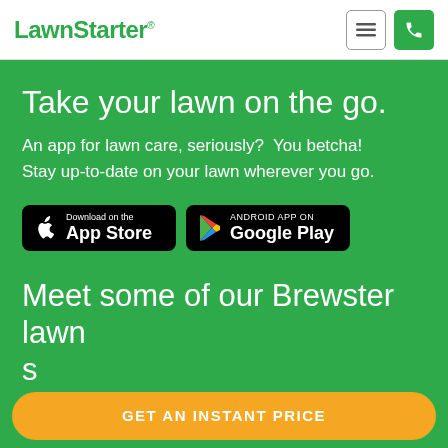LawnStarter®
Take your lawn on the go.
An app for lawn care, seriously?  You betcha! Stay up-to-date on your lawn wherever you go.
[Figure (screenshot): Download on the App Store button and Android App on Google Play button]
Meet some of our Brewster lawn s…
GET AN INSTANT PRICE